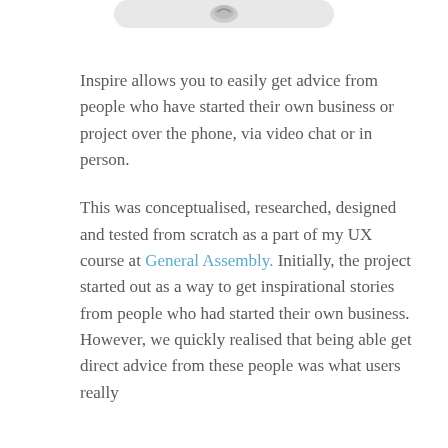[Figure (other): Partial UI element or icon at top of page, cropped]
Inspire allows you to easily get advice from people who have started their own business or project over the phone, via video chat or in person.
This was conceptualised, researched, designed and tested from scratch as a part of my UX course at General Assembly. Initially, the project started out as a way to get inspirational stories from people who had started their own business. However, we quickly realised that being able get direct advice from these people was what users really